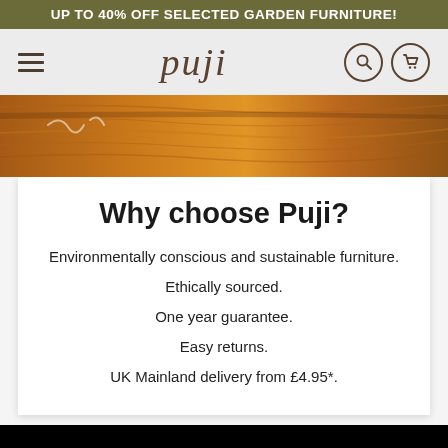UP TO 40% OFF SELECTED GARDEN FURNITURE!
[Figure (screenshot): Navigation bar with hamburger menu, Puji logo in center, search and cart icons on right]
[Figure (photo): Close-up of wooden furniture surface with grain texture and chalk markings]
Why choose Puji?
Environmentally conscious and sustainable furniture.
Ethically sourced.
One year guarantee.
Easy returns.
UK Mainland delivery from £4.95*.